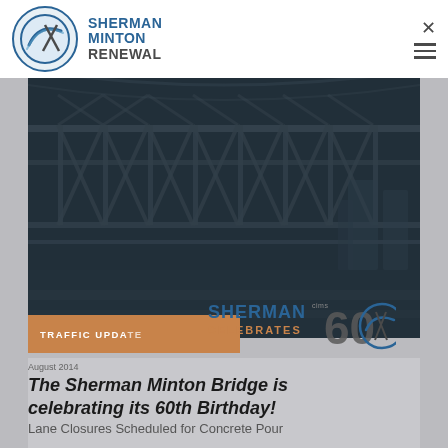[Figure (logo): Sherman Minton Renewal logo with circular icon and text]
[Figure (photo): Steel truss bridge structure photographed from below/side, dark blue-grey tones]
[Figure (logo): Sherman Celebrates 60 anniversary logo overlay]
TRAFFIC UPDATE
August 2014
The Sherman Minton Bridge is celebrating its 60th Birthday!
Lane Closures Scheduled for Concrete Pour